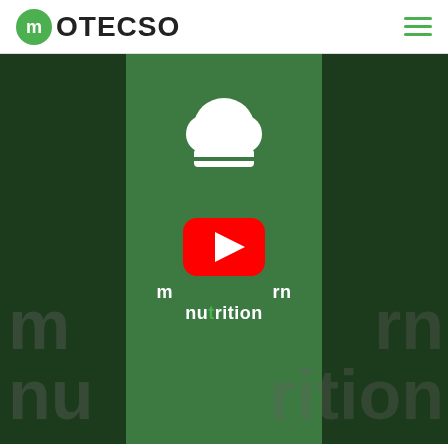MOTECSO
[Figure (screenshot): YouTube video thumbnail for 'modern nutrition' showing a dark green background with a lighter green vertical stripe in the center, a white chef hat icon at the top center, the text 'modern nutrition' in white below, a YouTube play button (red rounded rectangle with white triangle) overlaid in the center, and faded ghost text 'm' and 'nu' repeated on left and right sides of the frame.]